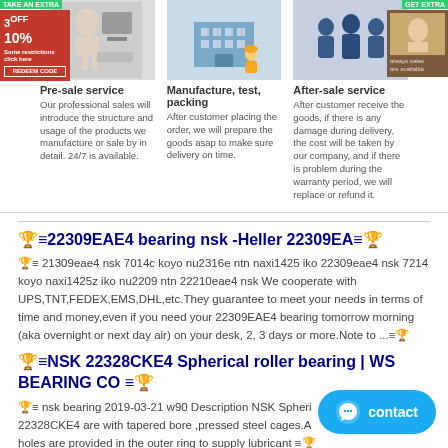[Figure (illustration): Person using computer at desk (pre-sale service illustration)]
Pre-sale service
Our professional sales will introduce the structure and usage of the products we manufacture or sale by in detail. 24/7 is available.
[Figure (illustration): Factory/warehouse with worker (manufacture, test, packing illustration)]
Manufacture, test, packing
After customer placing the order, we will prepare the goods asap to make sure delivery on time.
[Figure (illustration): Group of people in uniforms (after-sale service illustration)]
After-sale service
After customer receive the goods, if there is any damage during delivery, the cost will be taken by our company, and if there is problem during the warranty period, we will replace or refund it.
🏆≡22309EAE4 bearing nsk -Heller 22309EA≡🏆
🏆≡ 21309eae4 nsk 7014c koyo nu2316e ntn naxi1425 iko 22309eae4 nsk 7214 koyo naxi1425z iko nu2209 ntn 22210eae4 nsk We cooperate with UPS,TNT,FEDEX,EMS,DHL,etc.They guarantee to meet your needs in terms of time and money,even if you need your 22309EAE4 bearing tomorrow morning (aka overnight or next day air) on your desk, 2, 3 days or more.Note to ...≡🏆
🏆≡NSK 22328CKE4 Spherical roller bearing | WS BEARING CO ≡🏆
🏆≡ nsk bearing 2019-03-21 w90 Description NSK Spherical 22328CKE4 are with tapered bore ,pressed steel cages.A... holes are provided in the outer ring to supply lubricant ≡🏆